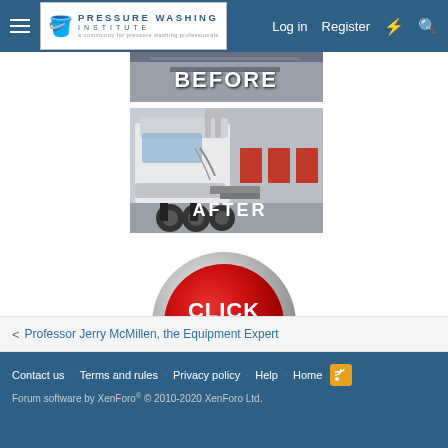Pressure Washing Institute — Log in   Register
[Figure (photo): BEFORE image of truck — partial strip showing top of truck with BEFORE text overlay]
[Figure (photo): AFTER image of a white semi-truck/tractor cab rear view in a parking lot, showing clean truck with AFTER text overlay]
[Figure (illustration): Red circular CLICK HERE button with silver/gray shiny rim]
< Professor Jerry McMillen, the Equipment Expert
Contact us   Terms and rules   Privacy policy   Help   Home   [RSS icon]   Forum software by XenForo® © 2010-2020 XenForo Ltd.